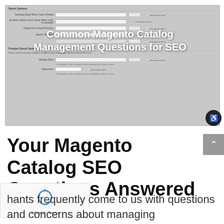[Figure (screenshot): Screenshot of Magento admin panel showing Stock Options configuration form with fields for Decrease Stock When Order is Placed, Set Items' Status to be In Stock When Order is Cancelled, Display Out of Stock Products, Search Threshold, and Product Stock Options section]
Common Magento Catalog Management Questions for SEO
Your Magento Catalog SEO Questions Answered
hants frequently come to us with questions and concerns about managing